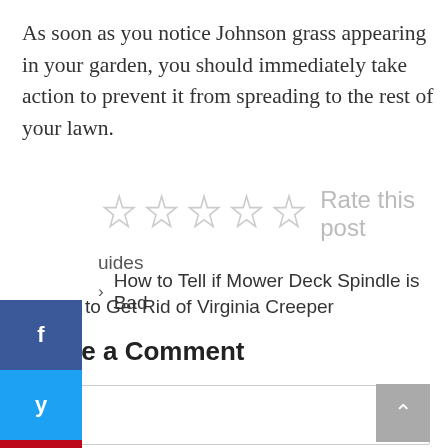As soon as you notice Johnson grass appearing in your garden, you should immediately take action to prevent it from spreading to the rest of your lawn.
[Figure (other): Five empty star rating icons with 'Rate this post' text label]
[Figure (infographic): Social sharing sidebar with Facebook, Twitter, and Pinterest buttons]
uides
How to Tell if Mower Deck Spindle is Bad
How to Get Rid of Virginia Creeper
Leave a Comment